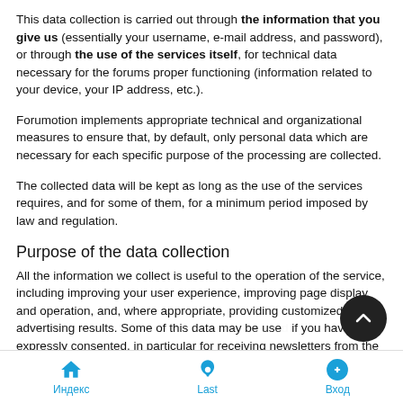This data collection is carried out through the information that you give us (essentially your username, e-mail address, and password), or through the use of the services itself, for technical data necessary for the forums proper functioning (information related to your device, your IP address, etc.).
Forumotion implements appropriate technical and organizational measures to ensure that, by default, only personal data which are necessary for each specific purpose of the processing are collected.
The collected data will be kept as long as the use of the services requires, and for some of them, for a minimum period imposed by law and regulation.
Purpose of the data collection
All the information we collect is useful to the operation of the service, including improving your user experience, improving page display and operation, and, where appropriate, providing customized advertising results. Some of this data may be used if you have expressly consented, in particular for receiving newsletters from the forums on which you have registered.
Индекс | Last | Вход